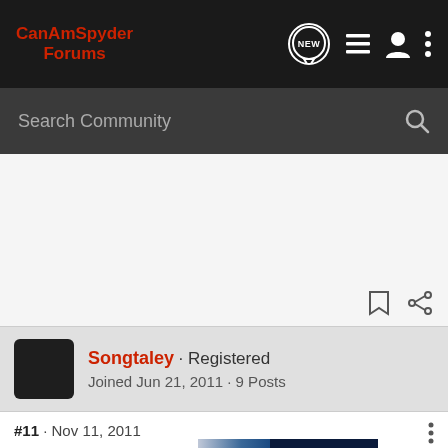CanAmSpyder Forums
Search Community
Songtaley · Registered
Joined Jun 21, 2011 · 9 Posts
#11 · Nov 11, 2011
RT floo
Could a
[Figure (screenshot): Suzuki GSX-S1000 GT advertisement banner showing motorcycle and GT logo with 'SEE IT NOW' call to action]